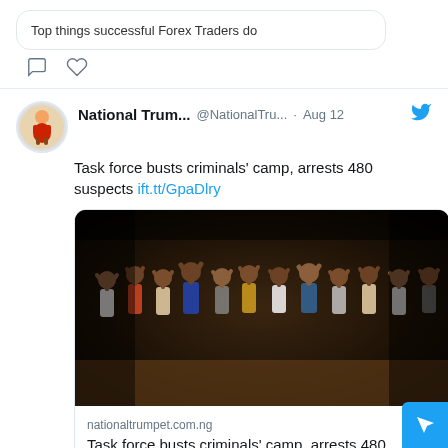Top things successful Forex Traders do
National Trum... @NationalTru... · Aug 12
Task force busts criminals' camp, arrests 480 suspects ift.tt/GpaDlry
[Figure (photo): Group of people standing in a line at night with hands raised, appearing to be arrested suspects outdoors]
nationaltrumpet.com.ng
Task force busts criminals' camp, arrests 480 suspects